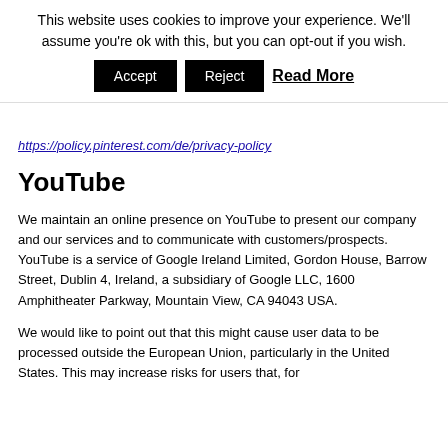This website uses cookies to improve your experience. We'll assume you're ok with this, but you can opt-out if you wish.
Accept | Reject | Read More
https://policy.pinterest.com/de/privacy-policy
YouTube
We maintain an online presence on YouTube to present our company and our services and to communicate with customers/prospects. YouTube is a service of Google Ireland Limited, Gordon House, Barrow Street, Dublin 4, Ireland, a subsidiary of Google LLC, 1600 Amphitheater Parkway, Mountain View, CA 94043 USA.
We would like to point out that this might cause user data to be processed outside the European Union, particularly in the United States. This may increase risks for users that, for